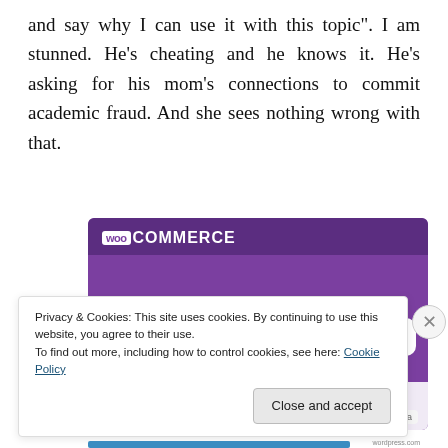and say why I can use it with this topic". I am stunned. He's cheating and he knows it. He's asking for his mom's connections to commit academic fraud. And she sees nothing wrong with that.
[Figure (screenshot): WooCommerce advertisement banner with purple background. Shows WooCommerce logo at top, text 'The most customizable eCommerce platform', shopping cart icon, and a 'Start a new store' button at the bottom.]
Privacy & Cookies: This site uses cookies. By continuing to use this website, you agree to their use.
To find out more, including how to control cookies, see here: Cookie Policy
Close and accept